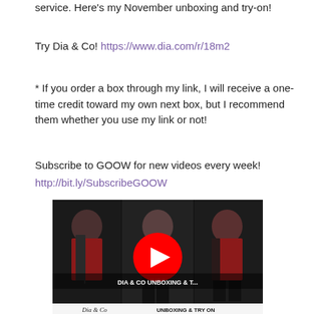service. Here's my November unboxing and try-on!
Try Dia & Co! https://www.dia.com/r/18m2
* If you order a box through my link, I will receive a one-time credit toward my own next box, but I recommend them whether you use my link or not!
Subscribe to GOOW for new videos every week!
http://bit.ly/SubscribeGOOW
[Figure (screenshot): YouTube video thumbnail showing 'DIA & CO UNBOXING & T...' with three women wearing different outfits, a red YouTube play button overlay in the center, and a title bar at the bottom reading 'Dia & Co UNBOXING & TRY ON']